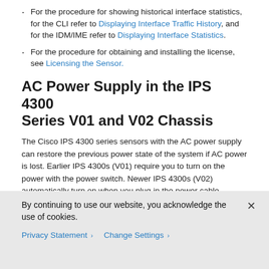For the procedure for showing historical interface statistics, for the CLI refer to Displaying Interface Traffic History, and for the IDM/IME refer to Displaying Interface Statistics.
For the procedure for obtaining and installing the license, see Licensing the Sensor.
AC Power Supply in the IPS 4300 Series V01 and V02 Chassis
The Cisco IPS 4300 series sensors with the AC power supply can restore the previous power state of the system if AC power is lost. Earlier IPS 4300s (V01) require you to turn on the power with the power switch. Newer IPS 4300s (V02) automatically turn on when you plug in the power cable.
To determine your version, do one of the following:
At the CLI, at the show version command, look at the...
By continuing to use our website, you acknowledge the use of cookies.
Privacy Statement   Change Settings